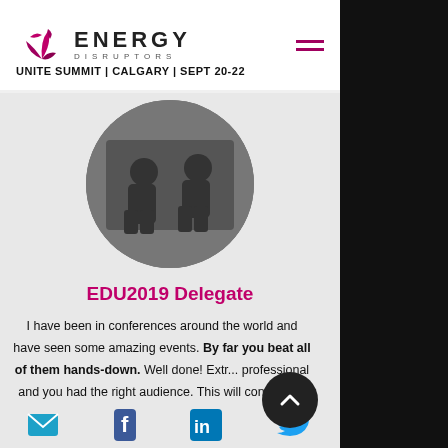[Figure (logo): Energy Disruptors logo with stylized leaf/arrow icon and text ENERGY DISRUPTORS]
UNITE SUMMIT | CALGARY | SEPT 20-22
[Figure (photo): Circular black and white photo of two people sitting casually, appearing to be at a conference]
EDU2019 Delegate
I have been in conferences around the world and have seen some amazing events. By far you beat all of them hands-down. Well done! Extr... professional and you had the right audience. This will continue to grow. Thank you for the
[Figure (other): Footer social media icons: email, Facebook, LinkedIn, Twitter]